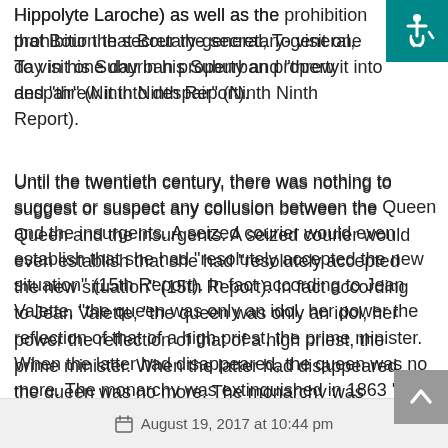Hippolyte Laroche) as well as the prohibition that Bourbons the secretary-general, To visit one day in his Suburban property and “threw it into despair” (Ninth Ninth Report).
Until the twentieth century, there was nothing to suggest or suspect any collusion between the Queen and the insurgents. A seized courier would even establish that she had “resolutely accepted the new situation” (15th Report). In fact according to Jean Valette, “the queen was only an idol, her power the reflection of that of a high priest, the prime minister. When the latter had disappeared, the queen was no more. The monarchy was extinguished in 1863 ”.
Hence it is “unjust and vain to ask of her what she could not give, for her speeches were in no way susceptible of reaching the troops of the rebellion, composed of illiterate and superstitious persons without contact with the capital.”
August 19, 2017 at 10:44 pm